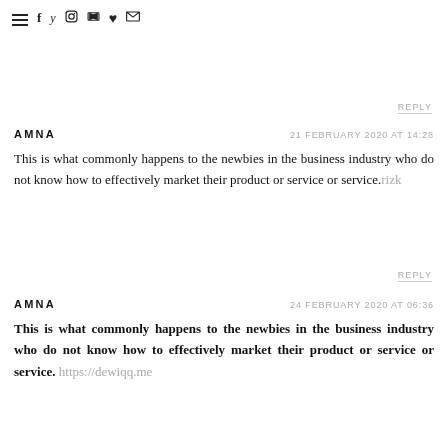≡ f tw ig yt ♥ ✉
REPLY
AMNA  21 FEBRUARY 2020 AT 14:28
This is what commonly happens to the newbies in the business industry who do not know how to effectively market their product or service or service. rizk
REPLY
AMNA  24 FEBRUARY 2020 AT 06:36
This is what commonly happens to the newbies in the business industry who do not know how to effectively market their product or service or service. https://dewiqq.me